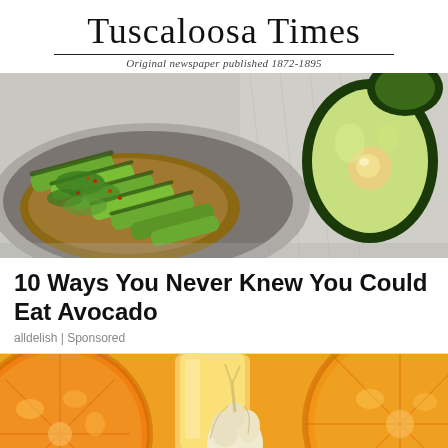Tuscaloosa Times
Original newspaper published 1872-1895
[Figure (photo): Avocado toast on a plate with sliced avocado and microgreens, alongside a halved avocado showing the pit cavity, on a wooden cutting board]
10 Ways You Never Knew You Could Eat Avocado
alldelish | Sponsored
[Figure (photo): Close-up of halved oranges, a glass of orange juice, and garlic bulb on a yellow-orange background]